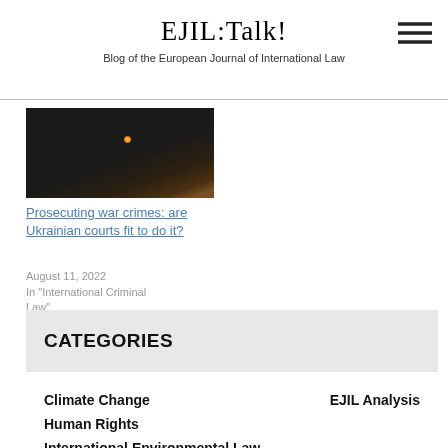EJIL:Talk!
Blog of the European Journal of International Law
[Figure (photo): Dark background photo, possibly a night scene with a faint orange/red light glow]
Prosecuting war crimes: are Ukrainian courts fit to do it?
August 11, 2022
In "International Criminal Law"
CATEGORIES
Climate Change
EJIL Analysis
Human Rights
International Environmental Law